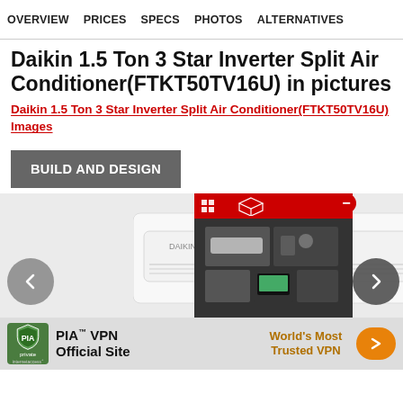OVERVIEW  PRICES  SPECS  PHOTOS  ALTERNATIVES
Daikin 1.5 Ton 3 Star Inverter Split Air Conditioner(FTKT50TV16U) in pictures
Daikin 1.5 Ton 3 Star Inverter Split Air Conditioner(FTKT50TV16U) Images
BUILD AND DESIGN
[Figure (photo): Daikin 1.5 Ton 3 Star Inverter Split Air Conditioner FTKT50TV16U indoor unit, white wall-mounted AC unit with gold accent, shown in a product gallery slider with thumbnail panel and navigation arrows. An advertisement banner for PIA VPN Official Site is overlaid at the bottom.]